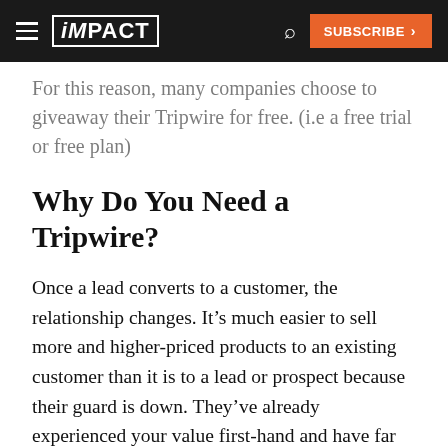iMPACT — SUBSCRIBE
For this reason, many companies choose to giveaway their Tripwire for free. (i.e a free trial or free plan)
Why Do You Need a Tripwire?
Once a lead converts to a customer, the relationship changes. It's much easier to sell more and higher-priced products to an existing customer than it is to a lead or prospect because their guard is down. They've already experienced your value first-hand and have far less qualms then people who are completely new to your